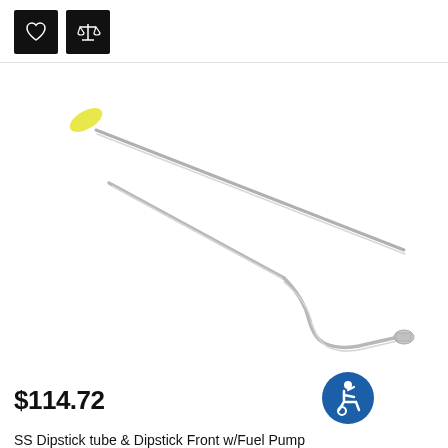[Figure (other): Two UI icon buttons: a heart (favorites) icon and a scales/compare icon, both on black square backgrounds]
[Figure (photo): Product photo of a stainless steel dipstick tube and dipstick front with fuel pump fitting. Shows two long thin metal rods/tubes — one straight diagonal rod with a yellow handle tip, and one curved/bent tube with a connector fitting at the bottom end.]
$114.72
[Figure (other): Blue circular accessibility/wheelchair icon badge]
SS Dipstick tube & Dipstick Front w/Fuel Pump